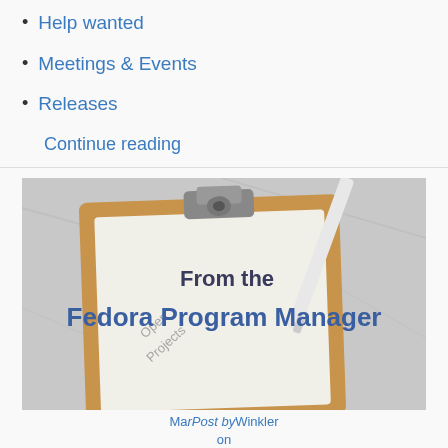Help wanted
Meetings & Events
Releases
Continue reading
[Figure (photo): Clipboard with paper on a marble surface with a white pen, overlaid with text 'From the Fedora Program Manager' and 'Open Projects']
Photo by Max Winkler on Unsplash
Friday's Fedora Facts: 2021-49
2021-12-03 by ben...